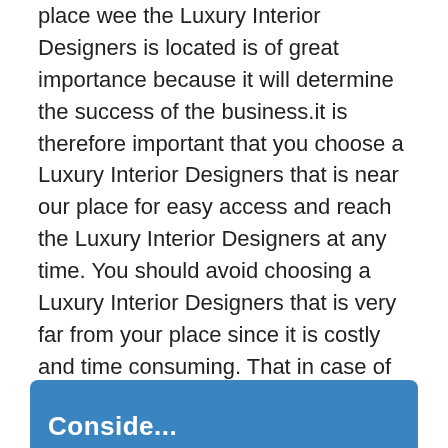place wee the Luxury Interior Designers is located is of great importance because it will determine the success of the business.it is therefore important that you choose a Luxury Interior Designers that is near our place for easy access and reach the Luxury Interior Designers at any time. You should avoid choosing a Luxury Interior Designers that is very far from your place since it is costly and time consuming. That in case of an emergency you will not be able to reach the Luxury Interior Designers in time.it is advantageous when you choose a Luxury Interior Designers that is near you will be able to save money and the time you could have used to travel if the Luxury Interior Designers was far.
Conside...